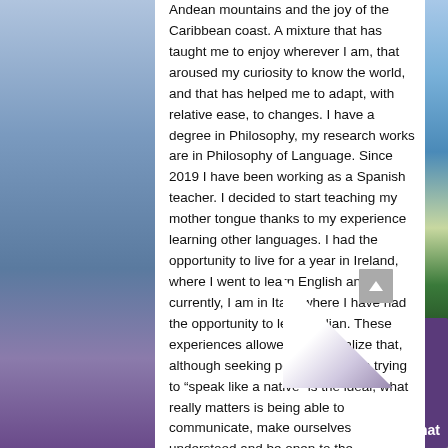Andean mountains and the joy of the Caribbean coast. A mixture that has taught me to enjoy wherever I am, that aroused my curiosity to know the world, and that has helped me to adapt, with relative ease, to changes. I have a degree in Philosophy, my research works are in Philosophy of Language. Since 2019 I have been working as a Spanish teacher. I decided to start teaching my mother tongue thanks to my experience learning other languages. I had the opportunity to live for a year in Ireland, where I went to learn English and, currently, I am in Italy, where I have had the opportunity to learn Italian. These experiences allowed me to realize that, although seeking perfection when trying to “speak like a native” is the ideal, what really matters is being able to communicate, make ourselves understood and be open to the experience of knowing other cultures and understand that there are many different points of view. Professionally, I have ha